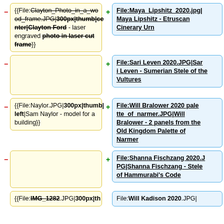{{File:Clayton_Photo_in_a_wood_frame.JPG|300px|thumb|center|Clayton Ford - laser engraved photo in laser cut frame}}
File:Maya_Lipshitz_2020.jpg|Maya Lipshitz - Etruscan Cinerary Urn
File:Sari Leven 2020.JPG|Sari Leven - Sumerian Stele of the Vultures
{{File:Naylor.JPG|300px|thumb|left|Sam Naylor - model for a building}}
File:Will Bralower 2020 palette_of_narmer.JPG|Will Bralower - 2 panels from the Old Kingdom Palette of Narmer
File:Shanna Fischzang 2020.JPG|Shanna Fischzang - Stele of Hammurabi's Code
{{File:IMG_1282.JPG|300px|th
File:Will Kadison 2020.JPG|